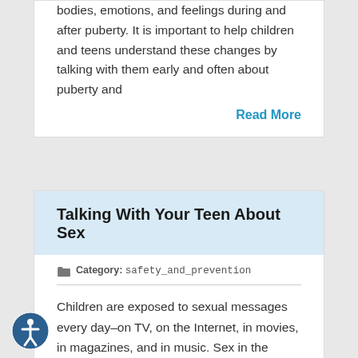bodies, emotions, and feelings during and after puberty. It is important to help children and teens understand these changes by talking with them early and often about puberty and
Read More
Talking With Your Teen About Sex
Category: safety_and_prevention
Children are exposed to sexual messages every day–on TV, on the Internet, in movies, in magazines, and in music. Sex in the media is so common that you might think that teens today already know all they need to about